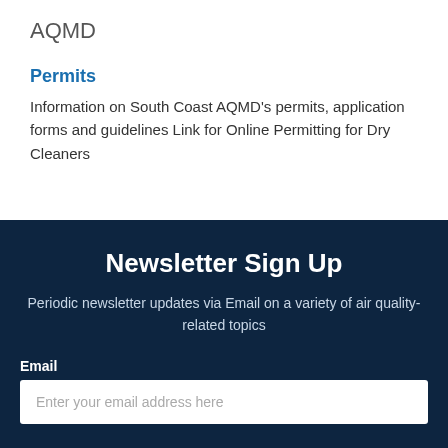AQMD
Permits
Information on South Coast AQMD's permits, application forms and guidelines Link for Online Permitting for Dry Cleaners
Newsletter Sign Up
Periodic newsletter updates via Email on a variety of air quality-related topics
Email
Enter your email address here